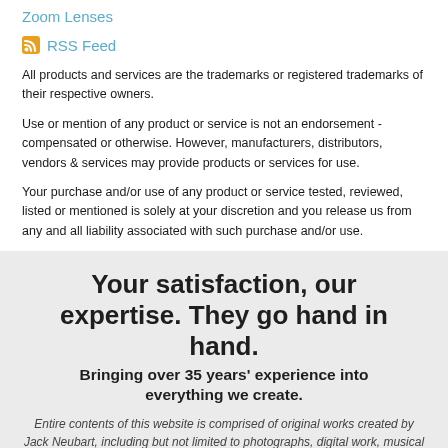Zoom Lenses
RSS Feed
All products and services are the trademarks or registered trademarks of their respective owners.
Use or mention of any product or service is not an endorsement - compensated or otherwise. However, manufacturers, distributors, vendors & services may provide products or services for use.
Your purchase and/or use of any product or service tested, reviewed, listed or mentioned is solely at your discretion and you release us from any and all liability associated with such purchase and/or use.
Your satisfaction, our expertise. They go hand in hand. Bringing over 35 years' experience into everything we create.
Entire contents of this website is comprised of original works created by Jack Neubart, including but not limited to photographs, digital work, musical compositions, stories, humor, poetry, and any other artistic or textual